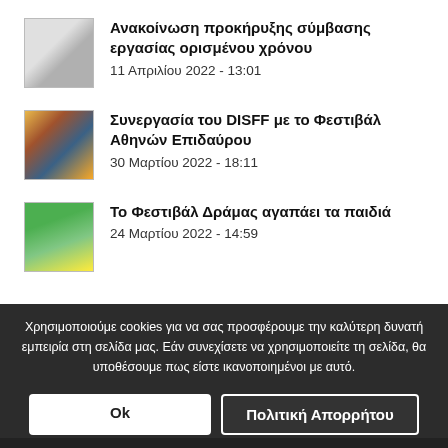Ανακοίνωση προκήρυξης σύμβασης εργασίας ορισμένου χρόνου
11 Απριλίου 2022 - 13:01
Συνεργασία του DISFF με το Φεστιβάλ Αθηνών Επιδαύρου
30 Μαρτίου 2022 - 18:11
Το Φεστιβάλ Δράμας αγαπάει τα παιδιά
24 Μαρτίου 2022 - 14:59
Χρησιμοποιούμε cookies για να σας προσφέρουμε την καλύτερη δυνατή εμπειρία στη σελίδα μας. Εάν συνεχίσετε να χρησιμοποιείτε τη σελίδα, θα υποθέσουμε πως είστε ικανοποιημένοι με αυτό.
Ok | Πολιτική Απορρήτου
ΔΕΛΤΙΑ ΤΥΠΟΥ
ΕΠΙΚΑΙΡΟΤΗΤΑ
ΑΝΑΚΟΙΝΩ...
ΕΦΗΜΕΡΙΔΑ